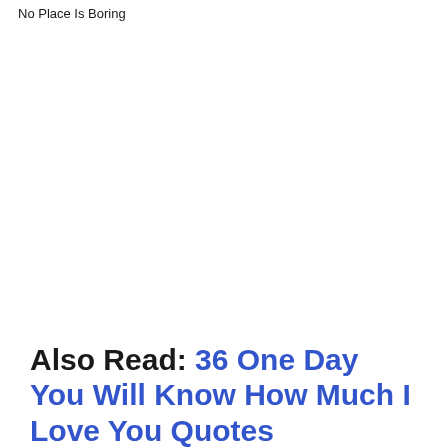No Place Is Boring
Also Read: 36 One Day You Will Know How Much I Love You Quotes